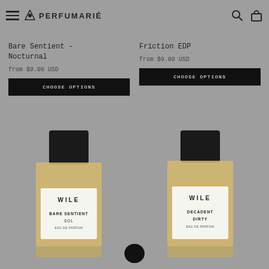PERFUMARIÉ
Bare Sentient - Nocturnal
from $9.00 USD
CHOOSE OPTIONS
Friction EDP
from $9.00 USD
CHOOSE OPTIONS
[Figure (photo): Perfume bottle labeled WILE BARE SENTIENT SOL EAU DE PARFUM on gray background]
[Figure (photo): Perfume bottle labeled WILE DECADENT DIRTY EAU DE PARFUM on gray background]